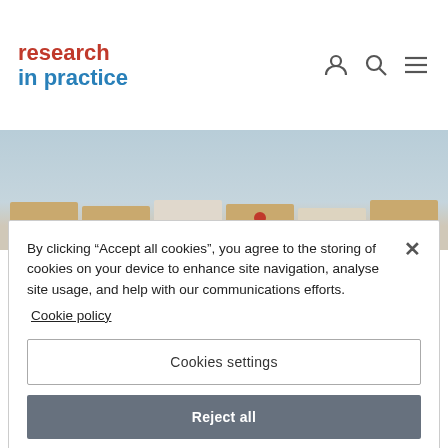[Figure (logo): Research in practice logo with 'research' in red and 'in practice' in blue, bold text, two lines]
[Figure (photo): Partial view of wooden blocks/cubes on a light blue shelf background, one block has a red circle marking]
By clicking “Accept all cookies”, you agree to the storing of cookies on your device to enhance site navigation, analyse site usage, and help with our communications efforts.
Cookie policy
Cookies settings
Reject all
Accept all cookies